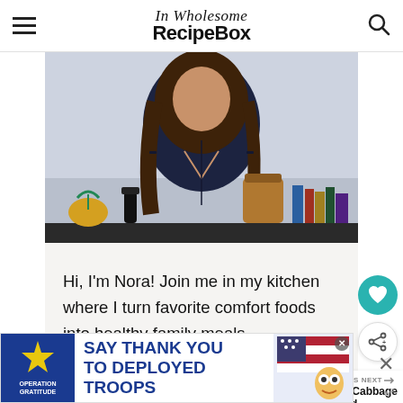Wholesome RecipeBox
[Figure (photo): Woman with long brown wavy hair standing in kitchen wearing dark navy top, with pineapple and fruit on counter, bottles, and books in background]
Hi, I'm Nora! Join me in my kitchen where I turn favorite comfort foods into healthy family meals.
More about me >>
[Figure (other): Heart/save button (teal circle with white heart icon)]
[Figure (other): Share button (white circle with share icon)]
[Figure (photo): What's Next thumbnail - Red Cabbage Salad]
WHAT'S NEXT → Red Cabbage Salad
[Figure (infographic): Advertisement banner: Operation Gratitude - SAY THANK YOU TO DEPLOYED TROOPS with cartoon character]